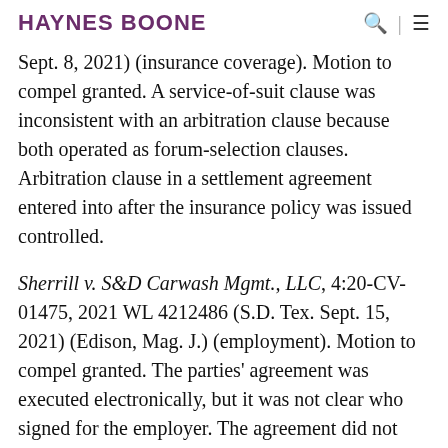HAYNES BOONE
Sept. 8, 2021) (insurance coverage). Motion to compel granted. A service-of-suit clause was inconsistent with an arbitration clause because both operated as forum-selection clauses. Arbitration clause in a settlement agreement entered into after the insurance policy was issued controlled.
Sherrill v. S&D Carwash Mgmt., LLC, 4:20-CV-01475, 2021 WL 4212486 (S.D. Tex. Sept. 15, 2021) (Edison, Mag. J.) (employment). Motion to compel granted. The parties' agreement was executed electronically, but it was not clear who signed for the employer. The agreement did not